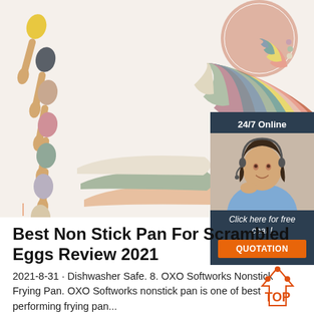[Figure (photo): Product photo showing multiple colorful silicone spoons/spatulas fanned out in various pastel colors including yellow, grey, pink, sage green, and beige, arranged on a white background]
[Figure (infographic): 24/7 Online chat widget with a photo of a female customer service representative wearing a headset, dark blue background, text 'Click here for free chat!' and an orange QUOTATION button]
Best Non Stick Pan For Scrambled Eggs Review 2021
2021-8-31 · Dishwasher Safe. 8. OXO Softworks Nonstick Frying Pan. OXO Softworks nonstick pan is one of best performing frying pan...